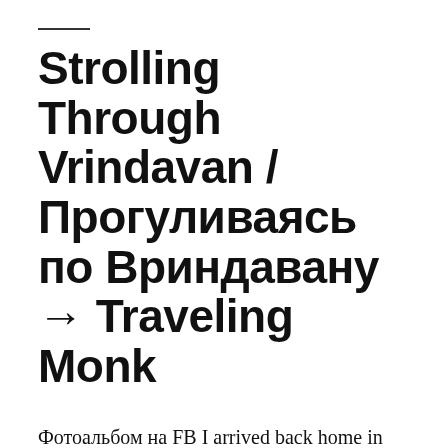Strolling Through Vrindavan / Прогуливаясь по Вриндавану → Traveling Monk
Фотоальбом на FB I arrived back home in Sri Vrindavan dhama yesterday. This afternoon I strolled through the town of